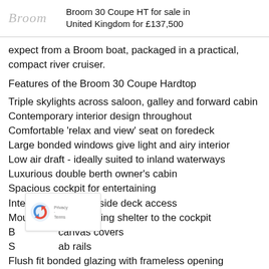Broom 30 Coupe HT for sale in United Kingdom for £137,500
expect from a Broom boat, packaged in a practical, compact river cruiser.
Features of the Broom 30 Coupe Hardtop
Triple skylights across saloon, galley and forward cabin
Contemporary interior design throughout
Comfortable 'relax and view' seat on foredeck
Large bonded windows give light and airy interior
Low air draft - ideally suited to inland waterways
Luxurious double berth owner's cabin
Spacious cockpit for entertaining
Integrated steps for side deck access
Moulded hardtop giving shelter to the cockpit
Bow canvas covers
Stainless grab rails
Flush fit bonded glazing with frameless opening